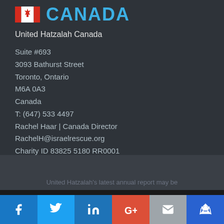CANADA
United Hatzalah Canada
Suite #693
3093 Bathurst Street
Toronto, Ontario
M6A 0A3
Canada
T: (647) 533 4497
Rachel Haar | Canada Director
RachelH@israelrescue.org
Charity ID 83825 5180 RR0001
United Hatzalah's latest annual report may be
We use cookies to ensure that we give you the best experience on our website. If you continue to use this site we will assume that you are happy with it.
[Figure (infographic): Social media share buttons: Facebook (blue), Twitter (light blue), LinkedIn (blue), Google+ (red/orange), Email (gray), Crown/other (dark blue)]